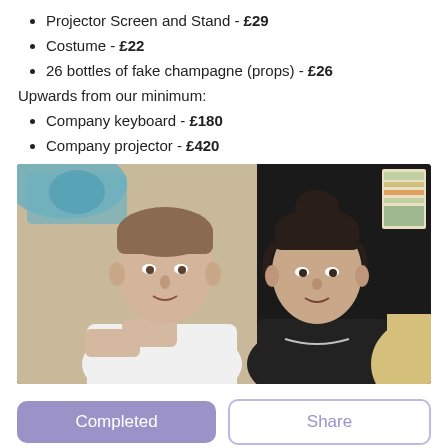Projector Screen and Stand - £29
Costume - £22
26 bottles of fake champagne (props) - £26
Upwards from our minimum:
Company keyboard - £180
Company projector - £420
[Figure (photo): Two people sitting together in front of a dark curtain backdrop. On the left is a young man in a white t-shirt with arms crossed. On the right is a young woman in a black top with a necklace. In the background there is a blue/teal fabric and some posters on the right side.]
Completed
Share